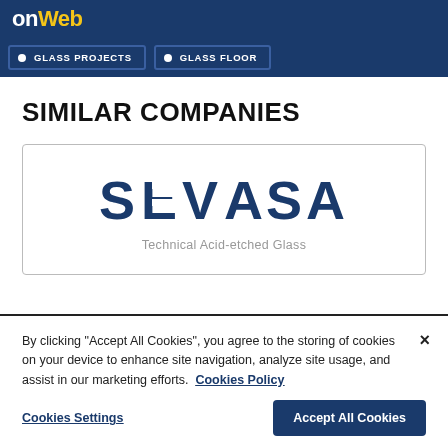onWeb
GLASS PROJECTS
GLASS FLOOR
SIMILAR COMPANIES
[Figure (logo): SEVASA logo with tagline 'Technical Acid-etched Glass']
By clicking "Accept All Cookies", you agree to the storing of cookies on your device to enhance site navigation, analyze site usage, and assist in our marketing efforts.  Cookies Policy
Cookies Settings  Accept All Cookies